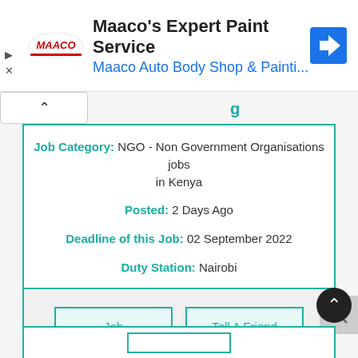[Figure (screenshot): Maaco advertisement banner with logo, text 'Maaco's Expert Paint Service' and 'Maaco Auto Body Shop & Painti...' and a navigation arrow icon]
Job Category: NGO - Non Government Organisations jobs in Kenya
Posted: 2 Days Ago
Deadline of this Job: 02 September 2022
Duty Station: Nairobi
Job Information
Tell A Friend